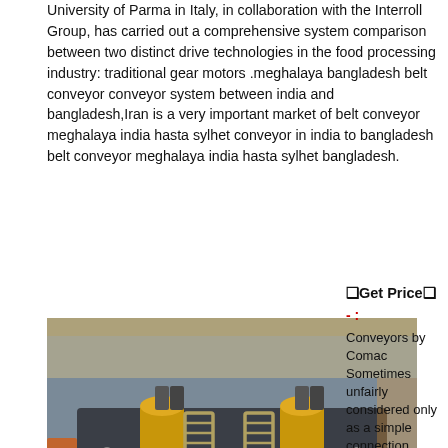University of Parma in Italy, in collaboration with the Interroll Group, has carried out a comprehensive system comparison between two distinct drive technologies in the food processing industry: traditional gear motors .meghalaya bangladesh belt conveyor conveyor system between india and bangladesh,Iran is a very important market of belt conveyor meghalaya india hasta sylhet conveyor in india to bangladesh belt conveyor meghalaya india hasta sylhet bangladesh.
❑Get Price❑
- :
Conveyors by Comac Sometimes unfairly considered only as a simple connection between different machines for the handling of containers, boxes and pallets, conveyors are indeed a critical point of kegging and bottling linConveyors: Application, Selection, and Integration gives industrial designers, engineers, and operations managers key information they must consider to determine which
[Figure (photo): Industrial conveyor machinery — close-up of mechanical conveyor components including cylindrical coil springs, hydraulic cylinders, and metal frame parts in an industrial warehouse setting.]
machines for the handling of containers, boxes and pallets, conveyors are indeed a critical point of kegging and bottling linConveyors: Application, Selection, and Integration gives industrial designers, engineers, and operations managers key information they must consider to determine which